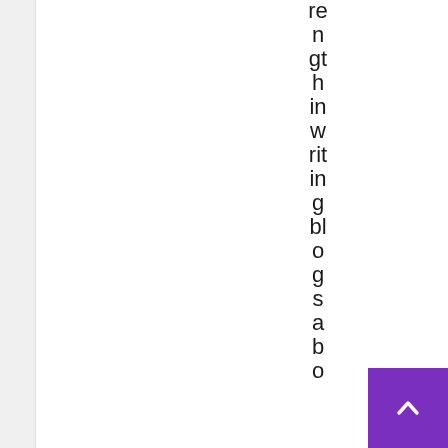re n gt h in w rit in g bl o g s a b o
[Figure (other): Purple scroll-to-top button with upward chevron arrow in bottom-right corner]